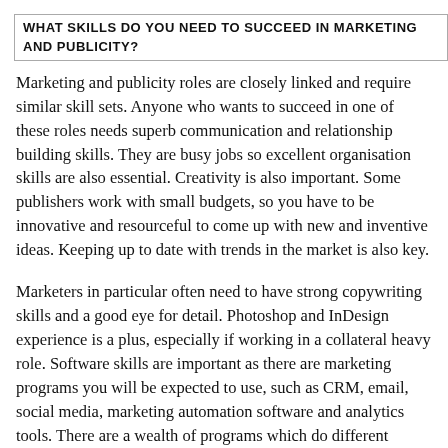WHAT SKILLS DO YOU NEED TO SUCCEED IN MARKETING AND PUBLICITY?
Marketing and publicity roles are closely linked and require similar skill sets. Anyone who wants to succeed in one of these roles needs superb communication and relationship building skills. They are busy jobs so excellent organisation skills are also essential. Creativity is also important. Some publishers work with small budgets, so you have to be innovative and resourceful to come up with new and inventive ideas. Keeping up to date with trends in the market is also key.
Marketers in particular often need to have strong copywriting skills and a good eye for detail. Photoshop and InDesign experience is a plus, especially if working in a collateral heavy role. Software skills are important as there are marketing programs you will be expected to use, such as CRM, email, social media, marketing automation software and analytics tools. There are a wealth of programs which do different things so it's good if you can pick them up quickly. Video and audio content creation